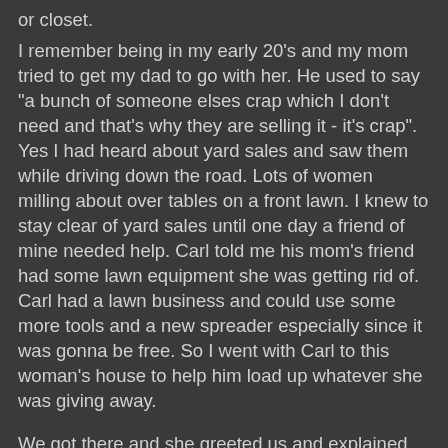or closet.
I remember being in my early 20's and my mom tried to get my dad to go with her. He used to say "a bunch of someone elses crap which I don't need and that's why they are selling it - it's crap". Yes I had heard about yard sales and saw them while driving down the road. Lots of women milling about over tables on a front lawn. I knew to stay clear of yard sales until one day a friend of mine needed help. Carl told me his mom's friend had some lawn equipment she was getting rid of. Carl had a lawn business and could use some more tools and a new spreader especially since it was gonna be free. So I went with Carl to this woman's house to help him load up whatever she was giving away.
We got there and she greeted us and explained how her HUSBAND DIED two weeks before. She took us to his domain. Out behind the house was the large garage which housed his life, his tools. This is where this man obviously created, planned, built and repaired things the past 40 years. Not as fancy as "Norm's This Old House Workshop" but BOY!!! this guy had some stuff. Table saw, wood and metal